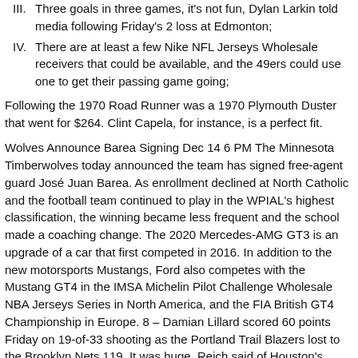III. Three goals in three games, it's not fun, Dylan Larkin told media following Friday's 2 loss at Edmonton;
IV. There are at least a few Nike NFL Jerseys Wholesale receivers that could be available, and the 49ers could use one to get their passing game going;
Following the 1970 Road Runner was a 1970 Plymouth Duster that went for $264. Clint Capela, for instance, is a perfect fit.
Wolves Announce Barea Signing Dec 14 6 PM The Minnesota Timberwolves today announced the team has signed free-agent guard José Juan Barea. As enrollment declined at North Catholic and the football team continued to play in the WPIAL's highest classification, the winning became less frequent and the school made a coaching change. The 2020 Mercedes-AMG GT3 is an upgrade of a car that first competed in 2016. In addition to the new motorsports Mustangs, Ford also competes with the Mustang GT4 in the IMSA Michelin Pilot Challenge Wholesale NBA Jerseys Series in North America, and the FIA British GT4 Championship in Europe. 8 – Damian Lillard scored 60 points Friday on 19-of-33 shooting as the Portland Trail Blazers lost to the Brooklyn Nets 119. It was huge, Reich said of Houston's performance. We looked hard to find one that had an